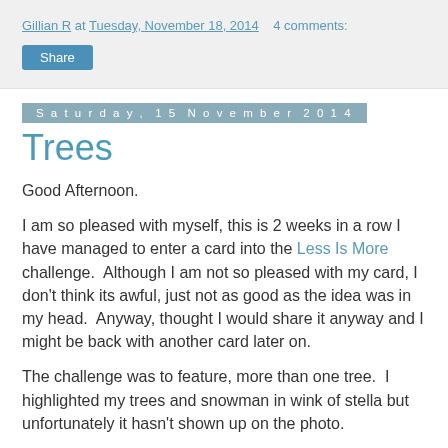Gillian R at Tuesday, November 18, 2014    4 comments:
Share
Saturday, 15 November 2014
Trees
Good Afternoon.
I am so pleased with myself, this is 2 weeks in a row I have managed to enter a card into the Less Is More challenge.  Although I am not so pleased with my card, I don't think its awful, just not as good as the idea was in my head.  Anyway, thought I would share it anyway and I might be back with another card later on.
The challenge was to feature, more than one tree.  I highlighted my trees and snowman in wink of stella but unfortunately it hasn't shown up on the photo.